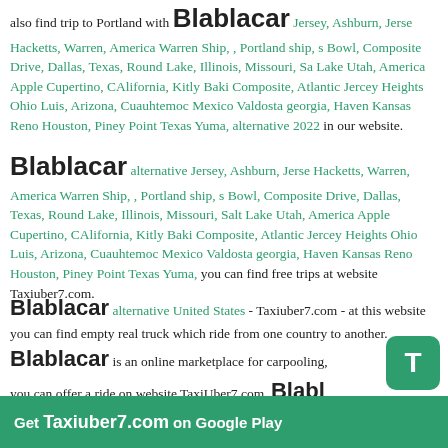also find trip to Portland with Blablacar Jersey, Ashburn, Jerse Hacketts, Warren, America Warren Ship, , Portland ship, s Bowl, Composite Drive, Dallas, Texas, Round Lake, Illinois, Missouri, Sa Lake Utah, America Apple Cupertino, CAlifornia, Kitly Baki Composite, Atlantic Jercey Heights Ohio Luis, Arizona, Cuauhtemoc Mexico Valdosta georgia, Haven Kansas Reno Houston, Piney Point Texas Yuma, alternative 2022 in our website.
Blablacar alternative Jersey, Ashburn, Jerse Hacketts, Warren, America Warren Ship, , Portland ship, s Bowl, Composite Drive, Dallas, Texas, Round Lake, Illinois, Missouri, Salt Lake Utah, America Apple Cupertino, CAlifornia, Kitly Baki Composite, Atlantic Jercey Heights Ohio Luis, Arizona, Cuauhtemoc Mexico Valdosta georgia, Haven Kansas Reno Houston, Piney Point Texas Yuma, you can find free trips at website Taxiuber7.com.
Blablacar alternative United States - Taxiuber7.com - at this website you can find empty real truck which ride from one country to another. Blablacar is an online marketplace for carpooling, you can offer a ride on website TaxiUber7.com. Blablacar Jersey, Ashburn, Jerse Hacketts, Warren, America Warren Ship, , Portland ship, s Bowl, Composite Drive, Dallas, Texas, Round Lake Illinois, Missouri, Salt Lake Utah, America Apple Cupertino, CAlifornia, Kitly Baki Composite, Atlantic Jercey Heights Ohio Luis, Arizona, Cuauhtemoc Mexico Valdosta georgia, Haven Ka
Get Taxiuber7.com on Google Play